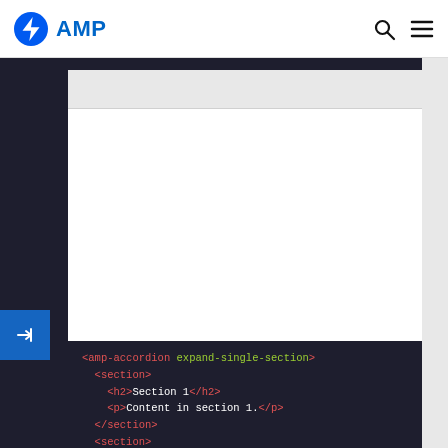AMP
[Figure (screenshot): AMP accordion component preview showing a browser-like preview pane with a gray bar and white content area, with a dark sidebar and blue arrow button on the left.]
<amp-accordion expand-single-section>
  <section>
    <h2>Section 1</h2>
    <p>Content in section 1.</p>
  </section>
  <section>
    <h2>Section 2</h2>
    <div>Content in section 2.</div>
  </section>
  <section>